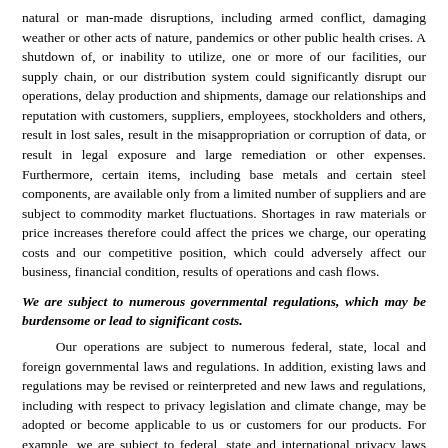natural or man-made disruptions, including armed conflict, damaging weather or other acts of nature, pandemics or other public health crises. A shutdown of, or inability to utilize, one or more of our facilities, our supply chain, or our distribution system could significantly disrupt our operations, delay production and shipments, damage our relationships and reputation with customers, suppliers, employees, stockholders and others, result in lost sales, result in the misappropriation or corruption of data, or result in legal exposure and large remediation or other expenses. Furthermore, certain items, including base metals and certain steel components, are available only from a limited number of suppliers and are subject to commodity market fluctuations. Shortages in raw materials or price increases therefore could affect the prices we charge, our operating costs and our competitive position, which could adversely affect our business, financial condition, results of operations and cash flows.
We are subject to numerous governmental regulations, which may be burdensome or lead to significant costs.
Our operations are subject to numerous federal, state, local and foreign governmental laws and regulations. In addition, existing laws and regulations may be revised or reinterpreted and new laws and regulations, including with respect to privacy legislation and climate change, may be adopted or become applicable to us or customers for our products. For example, we are subject to federal, state and international privacy laws relating to the collection, use, retention, security and transfer of personally identifiable information. In many cases, these laws apply not only to third-party transactions, but also to transfers of information between the Company and its subsidiaries, and among the Company, its subsidiaries and other parties with which the Company has commercial relations. Several jurisdictions have passed laws in this area, and